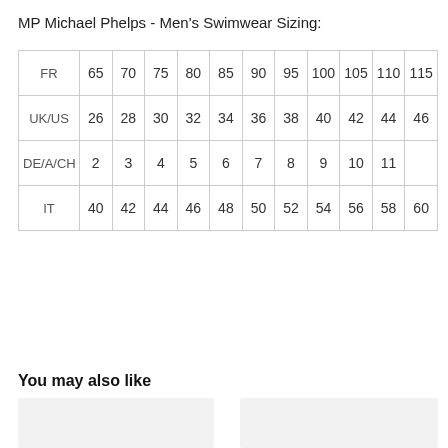MP Michael Phelps - Men's Swimwear Sizing:
|  | 65 | 70 | 75 | 80 | 85 | 90 | 95 | 100 | 105 | 110 | 115 |
| --- | --- | --- | --- | --- | --- | --- | --- | --- | --- | --- | --- |
| FR | 65 | 70 | 75 | 80 | 85 | 90 | 95 | 100 | 105 | 110 | 115 |
| UK/US | 26 | 28 | 30 | 32 | 34 | 36 | 38 | 40 | 42 | 44 | 46 |
| DE/A/CH | 2 | 3 | 4 | 5 | 6 | 7 | 8 | 9 | 10 | 11 |  |
| IT | 40 | 42 | 44 | 46 | 48 | 50 | 52 | 54 | 56 | 58 | 60 |
You may also like